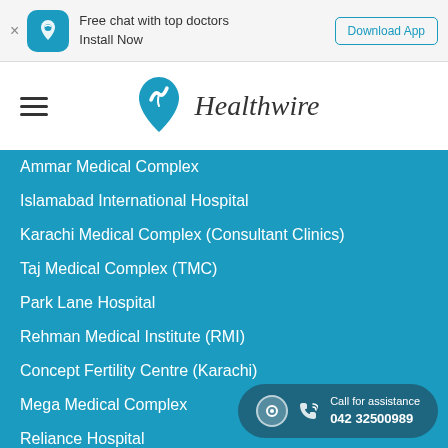[Figure (screenshot): Top app download banner with Healthwire icon, text 'Free chat with top doctors Install Now' and 'Download App' button]
[Figure (logo): Healthwire logo with teal heart/location pin icon and italic text 'Healthwire']
Ammar Medical Complex
Islamabad International Hospital
Karachi Medical Complex (Consultant Clinics)
Taj Medical Complex (TMC)
Park Lane Hospital
Rehman Medical Institute (RMI)
Concept Fertility Centre (Karachi)
Mega Medical Complex
Reliance Hospital
Specialties
Gynecologist in Lahore
Dermatologist in Lahore
Call for assistance 042 32500989